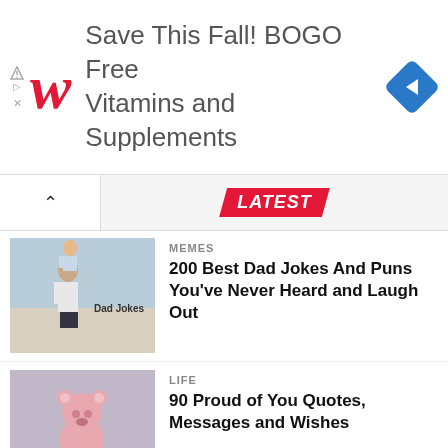[Figure (screenshot): Walgreens advertisement banner: 'Save This Fall! BOGO Free Vitamins and Supplements' with Walgreens red cursive logo and blue navigation diamond icon]
LATEST
MEMES
200 Best Dad Jokes And Puns You've Never Heard and Laugh Out
LIFE
90 Proud of You Quotes, Messages and Wishes
LIFE
75 Famous Sister Quotes About A Love, Wise And Funny
IMAGES
150 Best Memes – Popular Memes Ideas